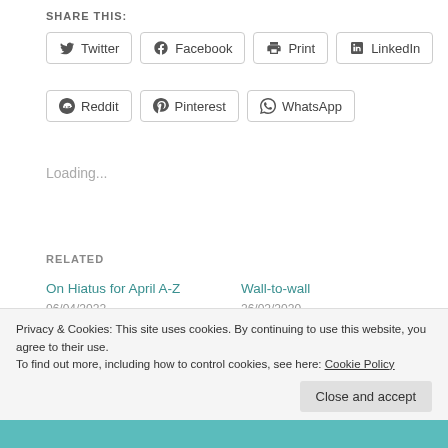SHARE THIS:
Twitter
Facebook
Print
LinkedIn
Reddit
Pinterest
WhatsApp
Loading...
RELATED
On Hiatus for April A-Z
06/04/2022
In "Random Scribbling"
Wall-to-wall
26/02/2020
In "Random Scribbling"
Black History month – a
Privacy & Cookies: This site uses cookies. By continuing to use this website, you agree to their use.
To find out more, including how to control cookies, see here: Cookie Policy
Close and accept